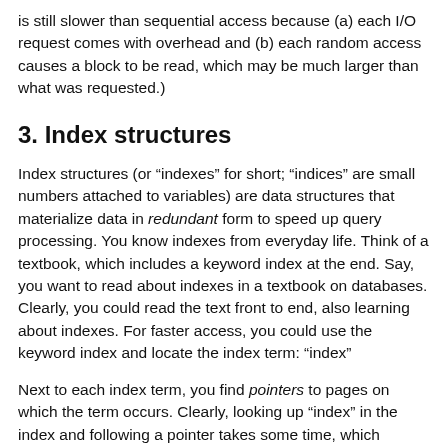is still slower than sequential access because (a) each I/O request comes with overhead and (b) each random access causes a block to be read, which may be much larger than what was requested.)
3. Index structures
Index structures (or “indexes” for short; “indices” are small numbers attached to variables) are data structures that materialize data in redundant form to speed up query processing. You know indexes from everyday life. Think of a textbook, which includes a keyword index at the end. Say, you want to read about indexes in a textbook on databases. Clearly, you could read the text front to end, also learning about indexes. For faster access, you could use the keyword index and locate the index term: “index”
Next to each index term, you find pointers to pages on which the term occurs. Clearly, looking up “index” in the index and following a pointer takes some time, which defines the access latency/time which should be much lower than in front-to-back